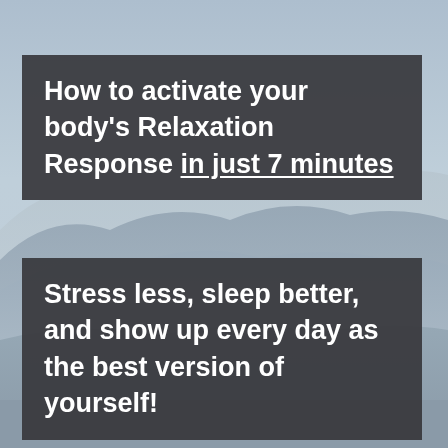[Figure (illustration): Misty mountain landscape background with soft blue-grey gradient sky and layered mountain silhouettes]
How to activate your body's Relaxation Response in just 7 minutes
Stress less, sleep better, and show up every day as the best version of yourself!